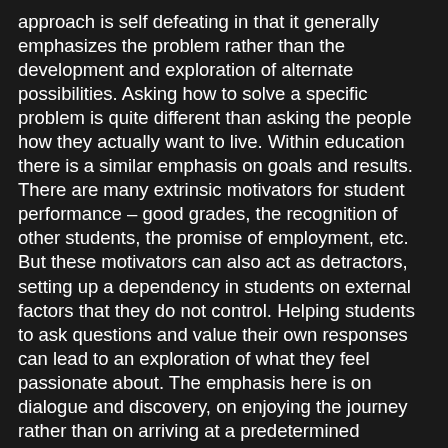approach is self defeating in that it generally emphasizes the problem rather than the development and exploration of alternate possibilities. Asking how to solve a specific problem is quite different than asking the people how they actually want to live. Within education there is a similar emphasis on goals and results. There are many extrinsic motivators for student performance – good grades, the recognition of other students, the promise of employment, etc. But these motivators can also act as detractors, setting up a dependency in students on external factors that they do not control. Helping students to ask questions and value their own responses can lead to an exploration of what they feel passionate about. The emphasis here is on dialogue and discovery, on enjoying the journey rather than on arriving at a predetermined destination. My hope is that this process provides my students with an experiential model they can reference throughout their lives, one that helps them establish the sense of self-worth required to prioritize work that they enjoy over work they do not.
A major part of that first day lesson plan revolves around a comparative analysis of the opening titles from Psycho,